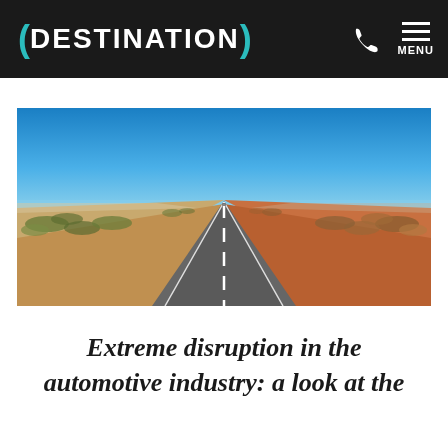(DESTINATION)
[Figure (photo): A straight road stretching to the horizon through an arid Australian outback landscape under a clear blue sky, with sandy terrain and sparse scrub vegetation on either side.]
Extreme disruption in the automotive industry: a look at the